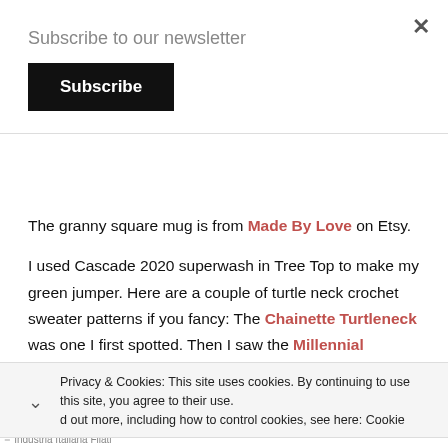Subscribe to our newsletter
Subscribe
The granny square mug is from Made By Love on Etsy.
I used Cascade 2020 superwash in Tree Top to make my green jumper. Here are a couple of turtle neck crochet sweater patterns if you fancy: The Chainette Turtleneck was one I first spotted. Then I saw the Millennial Jumper, which is a pretty close match. Or there's the Fino Polo neck which I'm sure I
Privacy & Cookies: This site uses cookies. By continuing to use this site, you agree to their use.
d out more, including how to control cookies, see here: Cookie
Industria Italiana Filati
Apri
Industria Italiana Filati